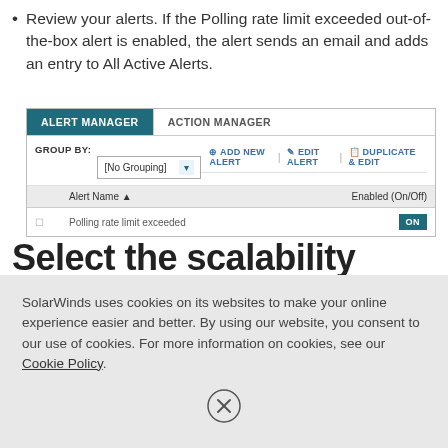Review your alerts. If the Polling rate limit exceeded out-of-the-box alert is enabled, the alert sends an email and adds an entry to All Active Alerts.
[Figure (screenshot): Alert Manager UI screenshot showing tabs 'ALERT MANAGER' (active, teal) and 'ACTION MANAGER'. Below: GROUP BY dropdown set to [No Grouping], toolbar with ADD NEW ALERT / EDIT ALERT / DUPLICATE & EDIT buttons, and a table with columns 'Alert Name' and 'Enabled (On/Off)'. One row shows 'Polling rate limit exceeded' with an ON toggle in teal.]
Select the scalability option suitable for your environment and deployed
SolarWinds uses cookies on its websites to make your online experience easier and better. By using our website, you consent to our use of cookies. For more information on cookies, see our Cookie Policy.